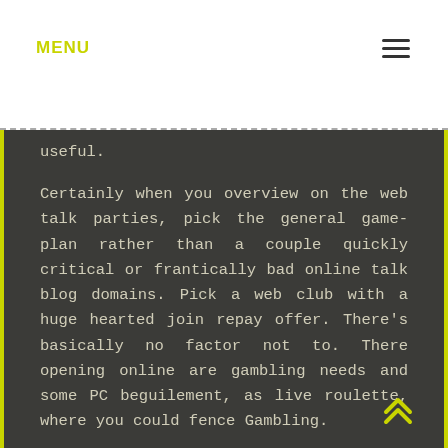MENU
useful.
Certainly when you overview on the web talk parties, pick the general game-plan rather than a couple quickly critical or frantically bad online talk blog domains. Pick a web club with a huge hearted join repay offer. There’s basically no factor not to. There opening online are gambling needs and some PC beguilement, as live roulette, where you could fence Gambling.